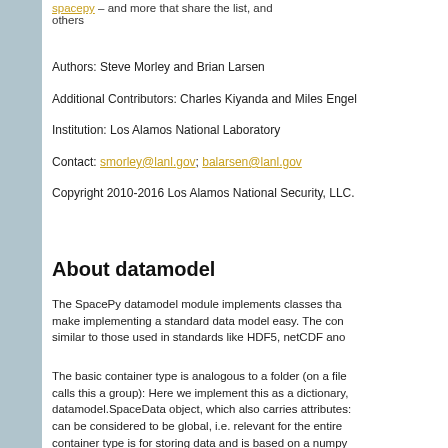spacepy – and more that share the list, and others
Authors: Steve Morley and Brian Larsen
Additional Contributors: Charles Kiyanda and Miles Engel
Institution: Los Alamos National Laboratory
Contact: smorley@lanl.gov; balarsen@lanl.gov
Copyright 2010-2016 Los Alamos National Security, LLC.
About datamodel
The SpacePy datamodel module implements classes that make implementing a standard data model easy. The con similar to those used in standards like HDF5, netCDF and
The basic container type is analogous to a folder (on a file calls this a group): Here we implement this as a dictionary, datamodel.SpaceData object, which also carries attributes: can be considered to be global, i.e. relevant for the entire container type is for storing data and is based on a numpy. is datamodel.dmarray and also carries attributes. The dm